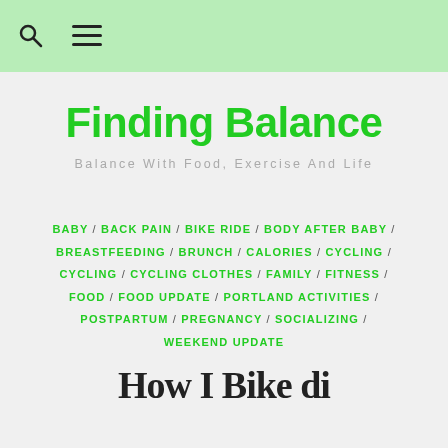Finding Balance — navigation header with search and menu icons
Finding Balance
Balance With Food, Exercise And Life
BABY / BACK PAIN / BIKE RIDE / BODY AFTER BABY / BREASTFEEDING / BRUNCH / CALORIES / CYCLING / CYCLING / CYCLING CLOTHES / FAMILY / FITNESS / FOOD / FOOD UPDATE / PORTLAND ACTIVITIES / POSTPARTUM / PREGNANCY / SOCIALIZING / WEEKEND UPDATE
How I Bike di...